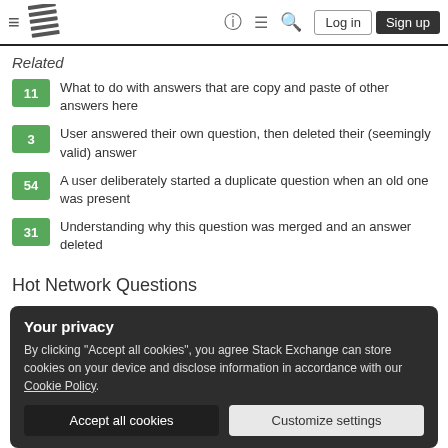Stack Exchange navigation bar with hamburger menu, logo, help, chat, search, Log in, Sign up
Related
11 — What to do with answers that are copy and paste of other answers here
3 — User answered their own question, then deleted their (seemingly valid) answer
54 — A user deliberately started a duplicate question when an old one was present
31 — Understanding why this question was merged and an answer deleted
Hot Network Questions
Your privacy — By clicking "Accept all cookies", you agree Stack Exchange can store cookies on your device and disclose information in accordance with our Cookie Policy. [Accept all cookies] [Customize settings]
Identification: Star Trek Voyager - real civilization treated like Age of